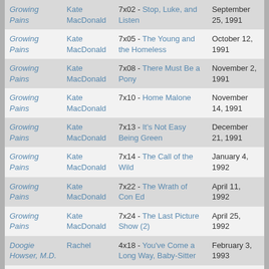| Show | Character | Episode | Air Date |
| --- | --- | --- | --- |
| Growing Pains | Kate MacDonald | 7x02 - Stop, Luke, and Listen | September 25, 1991 |
| Growing Pains | Kate MacDonald | 7x05 - The Young and the Homeless | October 12, 1991 |
| Growing Pains | Kate MacDonald | 7x08 - There Must Be a Pony | November 2, 1991 |
| Growing Pains | Kate MacDonald | 7x10 - Home Malone | November 14, 1991 |
| Growing Pains | Kate MacDonald | 7x13 - It's Not Easy Being Green | December 21, 1991 |
| Growing Pains | Kate MacDonald | 7x14 - The Call of the Wild | January 4, 1992 |
| Growing Pains | Kate MacDonald | 7x22 - The Wrath of Con Ed | April 11, 1992 |
| Growing Pains | Kate MacDonald | 7x24 - The Last Picture Show (2) | April 25, 1992 |
| Doogie Howser, M.D. | Rachel | 4x18 - You've Come a Long Way, Baby-Sitter | February 3, 1993 |
| Seinfeld | Danielle | 8x17 - The English Patient | March 13, 1997 |